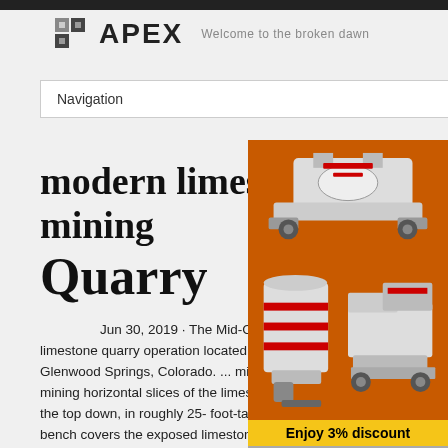APEX — Welcome to the broken dawn
Navigation
modern limestone quarry mining
Quarry
[Figure (photo): Advertisement showing mining/crushing equipment machines on an orange background with text 'Enjoy 3% discount' and 'Click to Chat', plus Enquiry contact information.]
Jun 30, 2019 · The Mid-Continent Quarry is a limestone quarry operation located 2 miles no... Glenwood Springs, Colorado. ... mining consi... mining horizontal slices of the limestone depo... the top down, in roughly 25- foot-tall benches... bench covers the exposed limestone from the natural